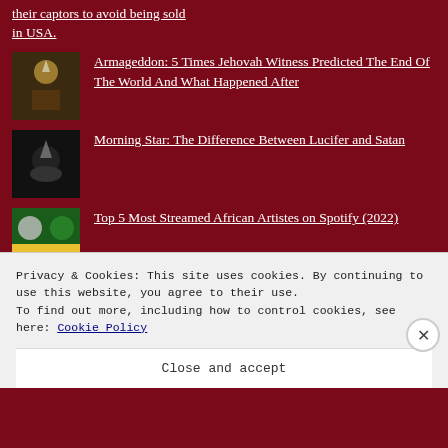their captors to avoid being sold in USA.
Armageddon: 5 Times Jehovah Witness Predicted The End Of The World And What Happened After
Morning Star: The Difference Between Lucifer and Satan
Top 5 Most Streamed African Artistes on Spotify (2022)
BBNAIJA 2020: Lilo caught on camera measuring the length and size of Eric's p*nis(photos)
Privacy & Cookies: This site uses cookies. By continuing to use this website, you agree to their use.
To find out more, including how to control cookies, see here: Cookie Policy
Close and accept